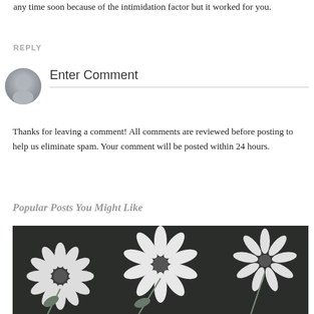any time soon because of the intimidation factor but it worked for you.
REPLY
[Figure (illustration): Gray avatar icon of a generic person silhouette]
Enter Comment
Thanks for leaving a comment! All comments are reviewed before posting to help us eliminate spam. Your comment will be posted within 24 hours.
Popular Posts You Might Like
[Figure (photo): Black and white floral fabric pattern with large daisy-like flowers on a dark background]